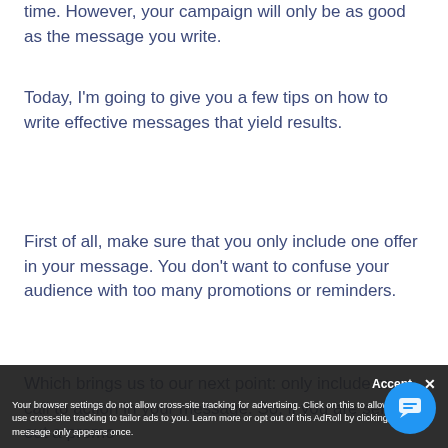time. However, your campaign will only be as good as the message you write.
Today, I'm going to give you a few tips on how to write effective messages that yield results.
First of all, make sure that you only include one offer in your message. You don't want to confuse your audience with too many promotions or reminders.
Which brings us to our next point: only include one call to action in your message. So, if you are sending out a promo[tion]...
Your browser settings do not allow cross-site tracking for advertising. Click on this to allow AdRoll to use cross-site tracking to tailor ads to you. Learn more or opt out of this A[dRoll] by clicking here. This message only appears once.